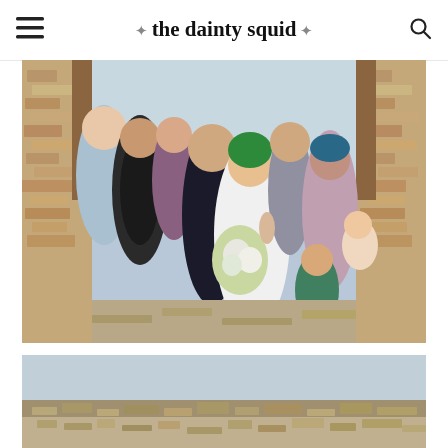the dainty squid
[Figure (photo): Group wedding photo of a bride in a white dress with green hair holding a bouquet, groom in dark suit, and family/friends gathered around them, standing between stone walls in an outdoor rustic setting]
[Figure (photo): Outdoor landscape photo showing stone ruins or walls under a clear light blue sky]